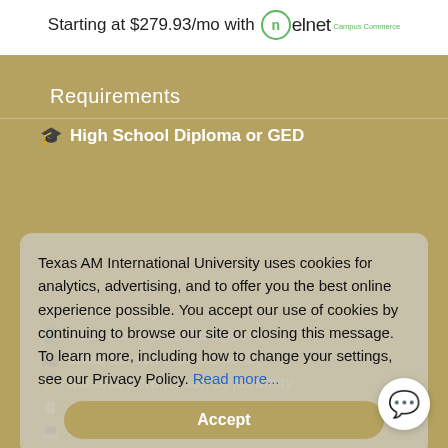Starting at $279.93/mo with nelnet Campus Commerce
Requirements
High School Diploma or GED
Texas AM International University uses cookies for analytics, advertising, and to offer you the best online experience possible. You accept our use of cookies by continuing to browse our site or closing this message. To learn more, including how to change your settings, see our Privacy Policy. Read more...
Mobile-Ready
Instructor-Facilitated Options
Video Lesson Presentations
National Certification Opportunity
All Textbooks & Materials
Laptops Available
24/7 Learner Support
Certificate of Completion